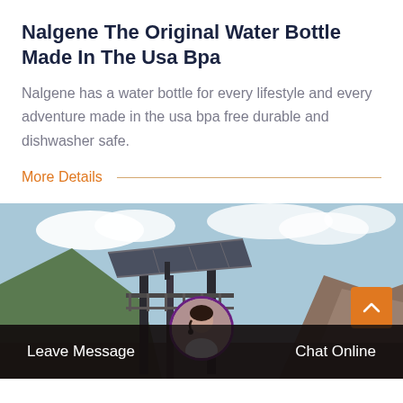Nalgene The Original Water Bottle Made In The Usa Bpa
Nalgene has a water bottle for every lifestyle and every adventure made in the usa bpa free durable and dishwasher safe.
More Details
[Figure (photo): Industrial structure with solar panels on scaffolding, rocky hillside and mountains in background under partly cloudy sky]
Leave Message
Chat Online